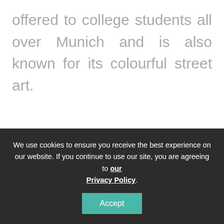offered to college students all over Munich and is also known for its colourful street art.
We use cookies to ensure you receive the best experience on our website. If you continue to use our site, you are agreeing to our Privacy Policy.
Accept